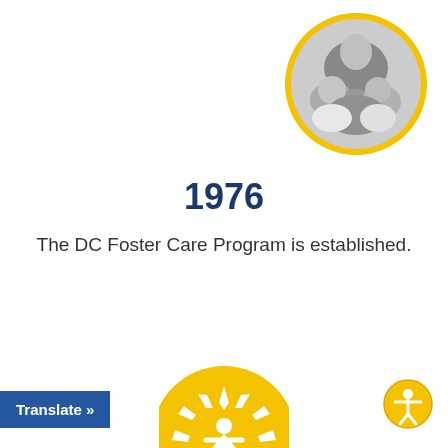[Figure (photo): Black and white circular photo of a woman hugging two children, framed with a yellow/gold circular border, positioned at top right of page.]
1976
The DC Foster Care Program is established.
[Figure (logo): DC Child and Family Services Agency logo — circular gold/yellow emblem with a stylized white human figure surrounded by radiating sun rays, partially visible at bottom center.]
[Figure (logo): Circular accessibility icon — gold/yellow circle with a stylized human figure with arms outstretched, positioned at bottom right.]
Translate »